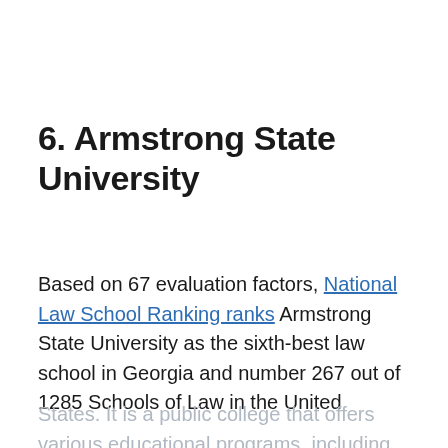6. Armstrong State University
Based on 67 evaluation factors, National Law School Ranking ranks Armstrong State University as the sixth-best law school in Georgia and number 267 out of 1285 Schools of Law in the United States. It is a public college that offers various educational programs, including
States. It is a public college that offers various educational programs, including